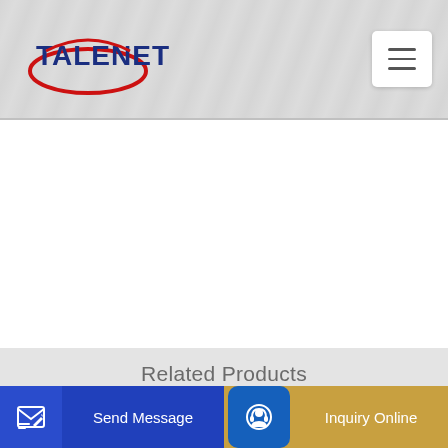[Figure (logo): TALENET company logo with red ellipse and blue bold text]
Related Products
Driving directions to JCL Concrete Pumping 15 Bethridge Rd
Manager for Hi-Tech Concrete Pumping
...tendin...